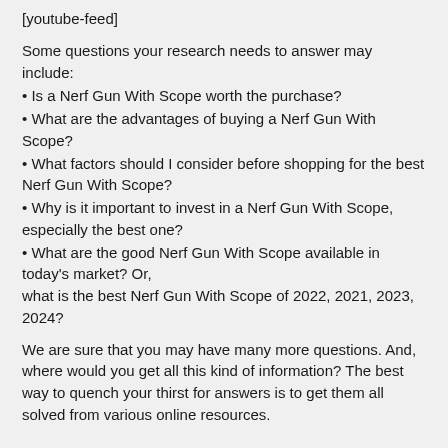[youtube-feed]
Some questions your research needs to answer may include:
• Is a Nerf Gun With Scope worth the purchase?
• What are the advantages of buying a Nerf Gun With Scope?
• What factors should I consider before shopping for the best Nerf Gun With Scope?
• Why is it important to invest in a Nerf Gun With Scope, especially the best one?
• What are the good Nerf Gun With Scope available in today's market? Or, what is the best Nerf Gun With Scope of 2022, 2021, 2023, 2024?
We are sure that you may have many more questions. And, where would you get all this kind of information? The best way to quench your thirst for answers is to get them all solved from various online resources.